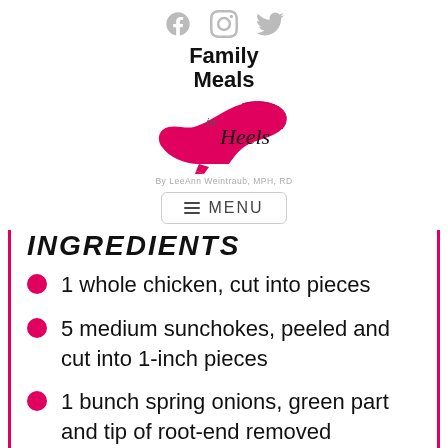[Figure (logo): Family Meals in Heels logo with social media icons (Facebook, Instagram, Twitter), pink high heel shoe graphic, and byline 'By LeeAnn Weintraub, MPH, RD']
INGREDIENTS
1 whole chicken, cut into pieces
5 medium sunchokes, peeled and cut into 1-inch pieces
1 bunch spring onions, green part and tip of root-end removed